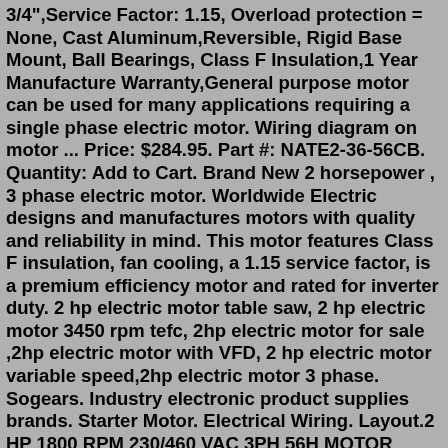3/4",Service Factor: 1.15, Overload protection = None, Cast Aluminum,Reversible, Rigid Base Mount, Ball Bearings, Class F Insulation,1 Year Manufacture Warranty,General purpose motor can be used for many applications requiring a single phase electric motor. Wiring diagram on motor ... Price: $284.95. Part #: NATE2-36-56CB. Quantity: Add to Cart. Brand New 2 horsepower , 3 phase electric motor. Worldwide Electric designs and manufactures motors with quality and reliability in mind. This motor features Class F insulation, fan cooling, a 1.15 service factor, is a premium efficiency motor and rated for inverter duty. 2 hp electric motor table saw, 2 hp electric motor 3450 rpm tefc, 2hp electric motor for sale ,2hp electric motor with VFD, 2 hp electric motor variable speed,2hp electric motor 3 phase. Sogears. Industry electronic product supplies brands. Starter Motor. Electrical Wiring. Layout.2 HP 1800 RPM 230/460 VAC 3PH 56H MOTOR Brand new, LEESON model C6T17FB154B three phase, electric motor. Designed to tolerate enviroments with